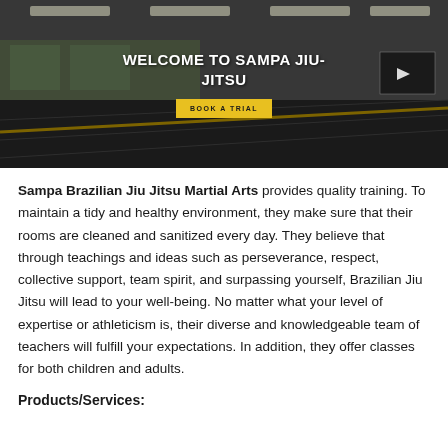[Figure (photo): Interior of a Brazilian Jiu-Jitsu gym/dojo with large gray mats on the floor, fluorescent ceiling lights, and large windows. Overlay text reads 'WELCOME TO SAMPA JIU-JITSU' with a yellow 'BOOK A TRIAL' button. A small video thumbnail is visible in the top right corner.]
Sampa Brazilian Jiu Jitsu Martial Arts provides quality training. To maintain a tidy and healthy environment, they make sure that their rooms are cleaned and sanitized every day. They believe that through teachings and ideas such as perseverance, respect, collective support, team spirit, and surpassing yourself, Brazilian Jiu Jitsu will lead to your well-being. No matter what your level of expertise or athleticism is, their diverse and knowledgeable team of teachers will fulfill your expectations. In addition, they offer classes for both children and adults.
Products/Services: